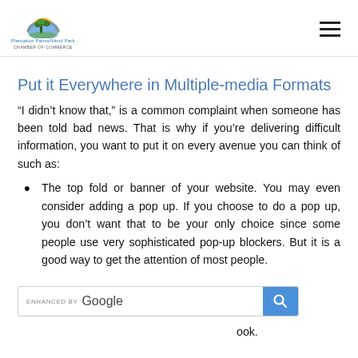Plantation Palms/Verol Park Chamber of Commerce logo and hamburger menu
Put it Everywhere in Multiple-media Formats
“I didn’t know that,” is a common complaint when someone has been told bad news. That is why if you’re delivering difficult information, you want to put it on every avenue you can think of such as:
The top fold or banner of your website. You may even consider adding a pop up. If you choose to do a pop up, you don’t want that to be your only choice since some people use very sophisticated pop-up blockers. But it is a good way to get the attention of most people.
[Figure (screenshot): Enhanced by Google search bar widget]
ook.